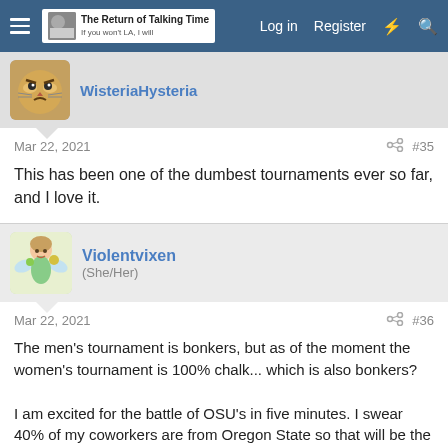The Return of Talking Time — Log in  Register
[Figure (screenshot): User avatar for WisteriaHysteria: cartoon angry cat face]
WisteriaHysteria
Mar 22, 2021  #35
This has been one of the dumbest tournaments ever so far, and I love it.
[Figure (illustration): User avatar for Violentvixen: fairy-like cartoon character]
Violentvixen
(She/Her)
Mar 22, 2021  #36
The men's tournament is bonkers, but as of the moment the women's tournament is 100% chalk... which is also bonkers?

I am excited for the battle of OSU's in five minutes. I swear 40% of my coworkers are from Oregon State so that will be the main topic of conversation at work tomorrow!